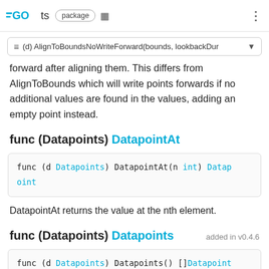GO ts package
≡ (d) AlignToBoundsNoWriteForward(bounds, lookbackDur ▾
forward after aligning them. This differs from AlignToBounds which will write points forwards if no additional values are found in the values, adding an empty point instead.
func (Datapoints) DatapointAt
func (d Datapoints) DatapointAt(n int) Datapoint
DatapointAt returns the value at the nth element.
func (Datapoints) Datapoints   added in v0.4.6
func (d Datapoints) Datapoints() []Datapoint